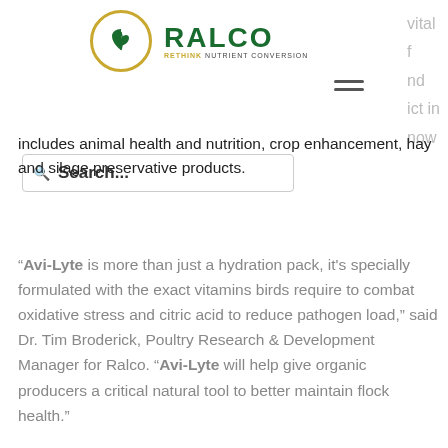[Figure (logo): Ralco logo with yellow circle containing a green leaf/sprout icon, green bold text RALCO, and tagline RETHINK NUTRIENT CONVERSION]
vital f nd ict in now
[Figure (other): Search bar with magnifying glass icon and bold text Search... plus a hamburger menu icon]
includes animal health and nutrition, crop enhancement, hay and silage preservative products.
“Avi-Lyte is more than just a hydration pack, it's specially formulated with the exact vitamins birds require to combat oxidative stress and citric acid to reduce pathogen load,” said Dr. Tim Broderick, Poultry Research & Development Manager for Ralco. “Avi-Lyte will help give organic producers a critical natural tool to better maintain flock health.”